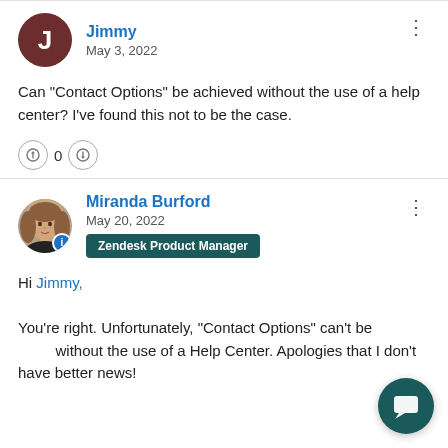Jimmy
May 3, 2022
Can "Contact Options" be achieved without the use of a help center? I've found this not to be the case.
Miranda Burford
May 20, 2022
Zendesk Product Manager
Hi Jimmy,
You're right.  Unfortunately, "Contact Options" can't be achieved without the use of a Help Center.  Apologies that I don't have better news!